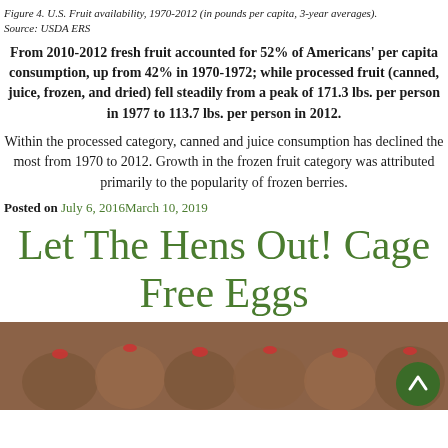Figure 4. U.S. Fruit availability, 1970-2012 (in pounds per capita, 3-year averages).
Source: USDA ERS
From 2010-2012 fresh fruit accounted for 52% of Americans' per capita consumption, up from 42% in 1970-1972; while processed fruit (canned, juice, frozen, and dried) fell steadily from a peak of 171.3 lbs. per person in 1977 to 113.7 lbs. per person in 2012.
Within the processed category, canned and juice consumption has declined the most from 1970 to 2012. Growth in the frozen fruit category was attributed primarily to the popularity of frozen berries.
Posted on July 6, 2016March 10, 2019
Let The Hens Out! Cage Free Eggs
[Figure (photo): Photo of hens/chickens at the bottom of the page with a green scroll-to-top button]